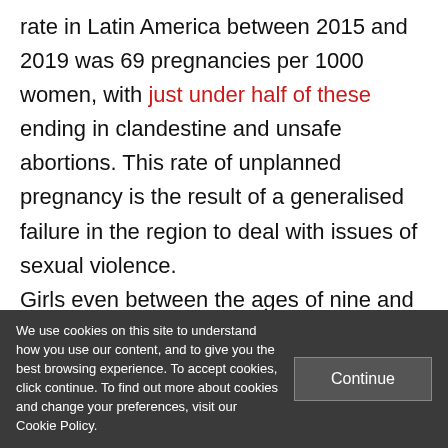rate in Latin America between 2015 and 2019 was 69 pregnancies per 1000 women, with just under half of these ending in clandestine and unsafe abortions. This rate of unplanned pregnancy is the result of a generalised failure in the region to deal with issues of sexual violence.

Girls even between the ages of nine and 14 are sometimes forced into motherhood,
We use cookies on this site to understand how you use our content, and to give you the best browsing experience. To accept cookies, click continue. To find out more about cookies and change your preferences, visit our Cookie Policy.